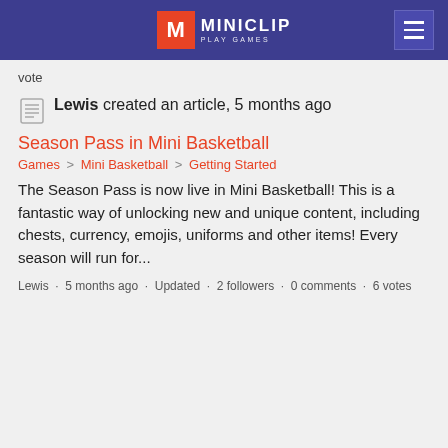MINICLIP PLAY GAMES
vote
Lewis created an article, 5 months ago
Season Pass in Mini Basketball
Games > Mini Basketball > Getting Started
The Season Pass is now live in Mini Basketball! This is a fantastic way of unlocking new and unique content, including chests, currency, emojis, uniforms and other items! Every season will run for...
Lewis · 5 months ago · Updated · 2 followers · 0 comments · 6 votes